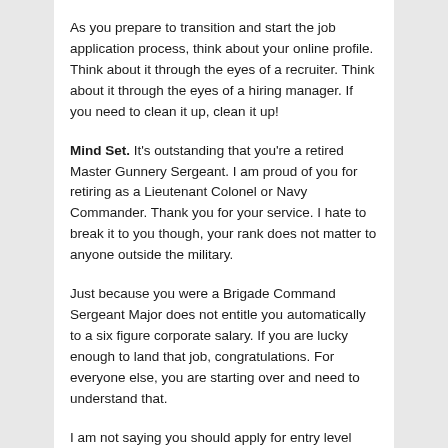As you prepare to transition and start the job application process, think about your online profile. Think about it through the eyes of a recruiter. Think about it through the eyes of a hiring manager. If you need to clean it up, clean it up!
Mind Set. It's outstanding that you're a retired Master Gunnery Sergeant. I am proud of you for retiring as a Lieutenant Colonel or Navy Commander. Thank you for your service. I hate to break it to you though, your rank does not matter to anyone outside the military.
Just because you were a Brigade Command Sergeant Major does not entitle you automatically to a six figure corporate salary. If you are lucky enough to land that job, congratulations. For everyone else, you are starting over and need to understand that.
I am not saying you should apply for entry level positions and be underemployed, I am merely stating you must have realistic expectations of the job market and realistic